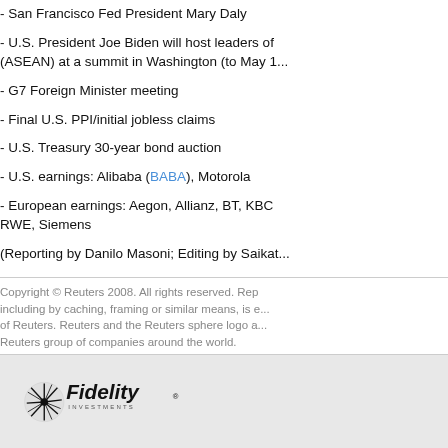- San Francisco Fed President Mary Daly
- U.S. President Joe Biden will host leaders of (ASEAN) at a summit in Washington (to May 1...
- G7 Foreign Minister meeting
- Final U.S. PPI/initial jobless claims
- U.S. Treasury 30-year bond auction
- U.S. earnings: Alibaba (BABA), Motorola
- European earnings: Aegon, Allianz, BT, KBC RWE, Siemens
(Reporting by Danilo Masoni; Editing by Saikat...
Copyright © Reuters 2008. All rights reserved. Rep... including by caching, framing or similar means, is e... of Reuters. Reuters and the Reuters sphere logo a... Reuters group of companies around the world.
Fidelity Investments